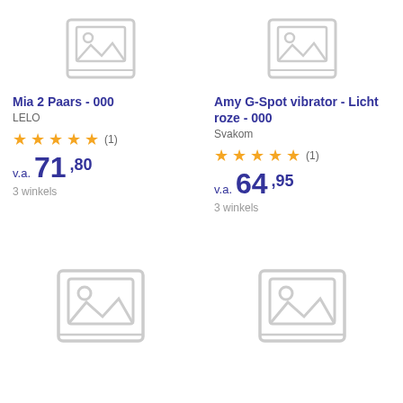[Figure (illustration): Placeholder image icon top-left (partially cut off at top)]
[Figure (illustration): Placeholder image icon top-right (partially cut off at top)]
Mia 2 Paars - 000
LELO
★★★★★ (1)
v.a. 71,80
3 winkels
Amy G-Spot vibrator - Licht roze - 000
Svakom
★★★★★ (1)
v.a. 64,95
3 winkels
[Figure (illustration): Placeholder image icon bottom-left]
[Figure (illustration): Placeholder image icon bottom-right]